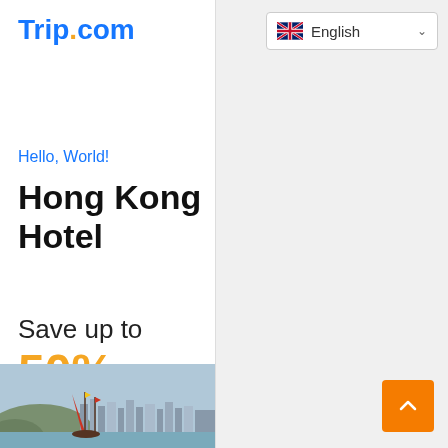[Figure (logo): Trip.com logo in blue and orange]
[Figure (screenshot): Language selector showing UK flag and English with dropdown arrow]
Hello, World!
Hong Kong Hotel
Save up to
50%
[Figure (photo): Hong Kong harbour photo with red junk boat and city skyline]
[Figure (other): Orange scroll-to-top button with white upward chevron]